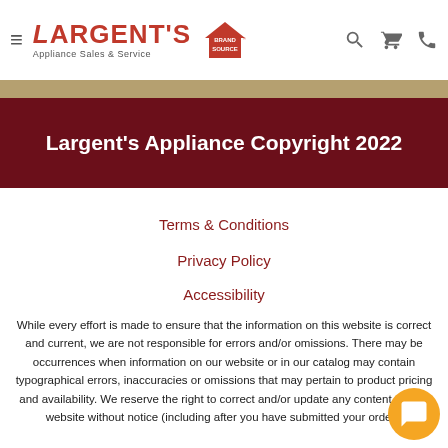[Figure (logo): Largent's Appliance Sales & Service logo with Brand Source branding]
Largent's Appliance Copyright 2022
Terms & Conditions
Privacy Policy
Accessibility
While every effort is made to ensure that the information on this website is correct and current, we are not responsible for errors and/or omissions. There may be occurrences when information on our website or in our catalog may contain typographical errors, inaccuracies or omissions that may pe... product pricing and availability. We reserve the right to correct and/o... any content on this website without notice (including after you have submitted your order).